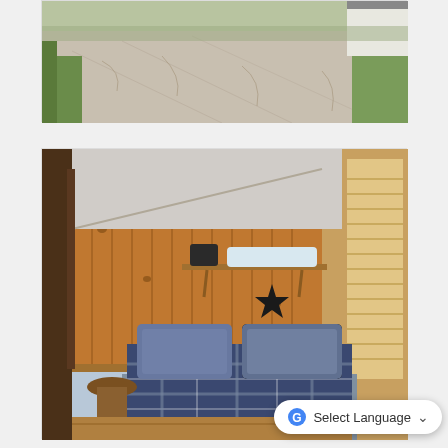[Figure (photo): Outdoor scene showing a gravel/concrete driveway with green grass on the sides and a white building partially visible in the background.]
[Figure (photo): Interior bedroom photo showing knotty pine wood-paneled walls, a shelf with bags/luggage, a black metal star decoration on the wall, a bed with blue/white plaid bedding and pillows, a small round wooden side table, and a window with blinds on the right.]
Select Language